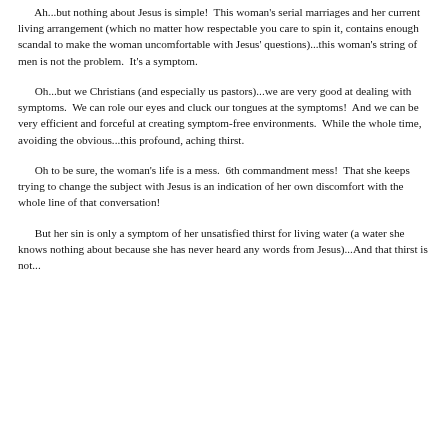Ah...but nothing about Jesus is simple!  This woman's serial marriages and her current living arrangement (which no matter how respectable you care to spin it, contains enough scandal to make the woman uncomfortable with Jesus' questions)...this woman's string of men is not the problem.  It's a symptom.
Oh...but we Christians (and especially us pastors)...we are very good at dealing with symptoms.  We can role our eyes and cluck our tongues at the symptoms!  And we can be very efficient and forceful at creating symptom-free environments.  While the whole time, avoiding the obvious...this profound, aching thirst.
Oh to be sure, the woman's life is a mess.  6th commandment mess!  That she keeps trying to change the subject with Jesus is an indication of her own discomfort with the whole line of that conversation!
But her sin is only a symptom of her unsatisfied thirst for living water (a water she knows nothing about because she has never heard any words from Jesus)...And that thirst is not...